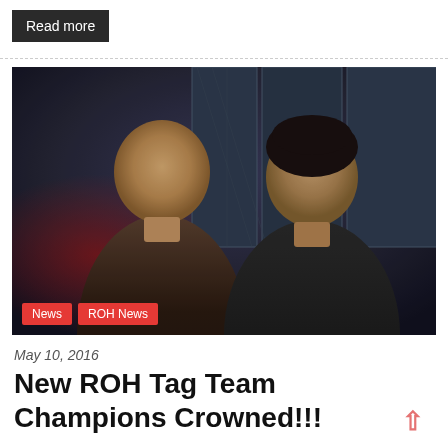Read more
[Figure (photo): Two male professional wrestlers posing together in front of a locker room backdrop. The man on the left is bald wearing a blazer and patterned shirt. The man on the right has dark hair wearing a black t-shirt with a design. Tags 'News' and 'ROH News' are overlaid in red at the bottom left.]
May 10, 2016
New ROH Tag Team Champions Crowned!!!